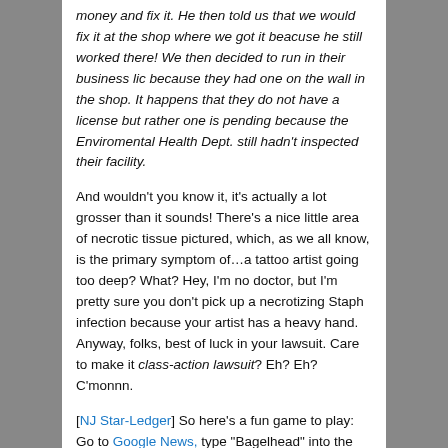money and fix it. He then told us that we would fix it at the shop where we got it beacuse he still worked there! We then decided to run in their business lic because they had one on the wall in the shop. It happens that they do not have a license but rather one is pending because the Enviromental Health Dept. still hadn't inspected their facility.
And wouldn't you know it, it's actually a lot grosser than it sounds! There's a nice little area of necrotic tissue pictured, which, as we all know, is the primary symptom of…a tattoo artist going too deep? What? Hey, I'm no doctor, but I'm pretty sure you don't pick up a necrotizing Staph infection because your artist has a heavy hand. Anyway, folks, best of luck in your lawsuit. Care to make it class-action lawsuit? Eh? Eh? C'monnn.
[NJ Star-Ledger] So here's a fun game to play: Go to Google News, type "Bagelhead" into the query field, look at the results, and then punch yourself in the dick/balls/ovaries/whatever hard enough that you will never, ever breed, thus saving your potential offspring